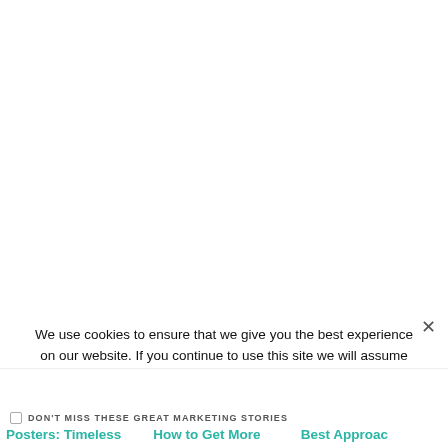We use cookies to ensure that we give you the best experience on our website. If you continue to use this site we will assume that you are happy with it.
OK
Privacy policy
DON'T MISS THESE GREAT MARKETING STORIES
Posters: Timeless
How to Get More
Best Approac